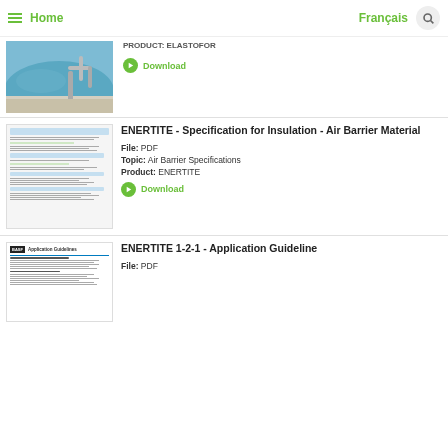Home | Français
Product: ELASTOFOR
Download
[Figure (screenshot): Thumbnail screenshot of ENERTITE specification document for Insulation Air Barrier Material]
ENERTITE - Specification for Insulation - Air Barrier Material
File: PDF
Topic: Air Barrier Specifications
Product: ENERTITE
Download
[Figure (screenshot): Thumbnail of BASF ENERTITE 1-2-1 Application Guidelines document]
ENERTITE 1-2-1 - Application Guideline
File: PDF